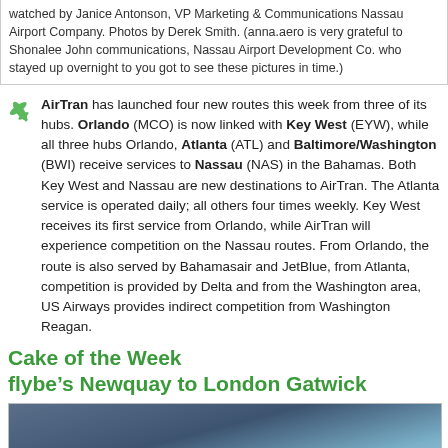watched by Janice Antonson, VP Marketing & Communications Nassau Airport Company. Photos by Derek Smith. (anna.aero is very grateful to Shonalee John communications, Nassau Airport Development Co. who stayed up overnight to you got to see these pictures in time.)
AirTran has launched four new routes this week from three of its hubs. Orlando (MCO) is now linked with Key West (EYW), while all three hubs Orlando, Atlanta (ATL) and Baltimore/Washington (BWI) receive services to Nassau (NAS) in the Bahamas. Both Key West and Nassau are new destinations to AirTran. The Atlanta service is operated daily; all others four times weekly. Key West receives its first service from Orlando, while AirTran will experience competition on the Nassau routes. From Orlando, the route is also served by Bahamasair and JetBlue, from Atlanta, competition is provided by Delta and from the Washington area, US Airways provides indirect competition from Washington Reagan.
Cake of the Week
flybe's Newquay to London Gatwick
[Figure (photo): Photo of a cake decorated with airport/aviation theme, showing small fondant airplane figures on white surface with blue text visible]